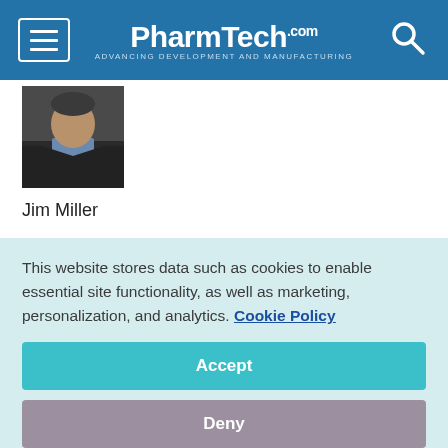PharmTech.com — Advancing Development and Manufacturing
[Figure (photo): Headshot photo of Jim Miller, a man in a dark jacket and blue shirt]
Jim Miller
The large clinical CROs benefited from a number of favourable trends, including growth in the drug development pipeline and efforts by major pharmaceutical companies to reduce the number of vendors they work with. At the same time, however, the big CROs have been making important strategic moves…
This website stores data such as cookies to enable essential site functionality, as well as marketing, personalization, and analytics. Cookie Policy
Accept
Deny